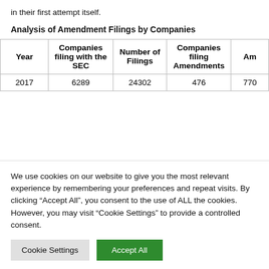in their first attempt itself.
Analysis of Amendment Filings by Companies
| Year | Companies filing with the SEC | Number of Filings | Companies filing Amendments | Am... |
| --- | --- | --- | --- | --- |
| 2017 | 6289 | 24302 | 476 | 770 |
We use cookies on our website to give you the most relevant experience by remembering your preferences and repeat visits. By clicking “Accept All”, you consent to the use of ALL the cookies. However, you may visit “Cookie Settings” to provide a controlled consent.